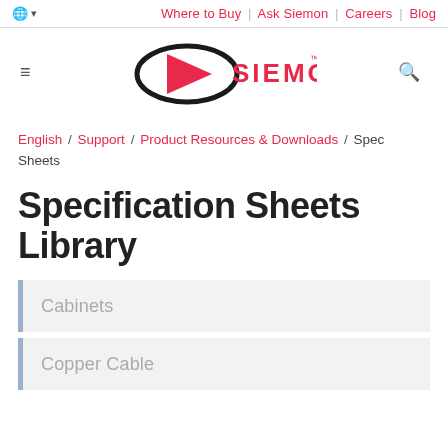Where to Buy | Ask Siemon | Careers | Blog
[Figure (logo): Siemon logo with red arrow/play button shape inside a black oval, with SIEMON text in red]
English / Support / Product Resources & Downloads / Spec Sheets
Specification Sheets Library
Cabinets
Copper Cable